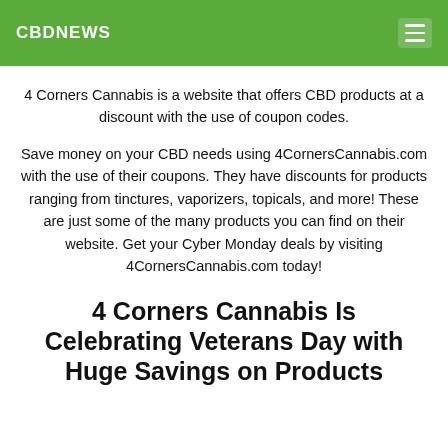CBDNEWS
4 Corners Cannabis is a website that offers CBD products at a discount with the use of coupon codes.
Save money on your CBD needs using 4CornersCannabis.com with the use of their coupons. They have discounts for products ranging from tinctures, vaporizers, topicals, and more! These are just some of the many products you can find on their website. Get your Cyber Monday deals by visiting 4CornersCannabis.com today!
4 Corners Cannabis Is Celebrating Veterans Day with Huge Savings on Products